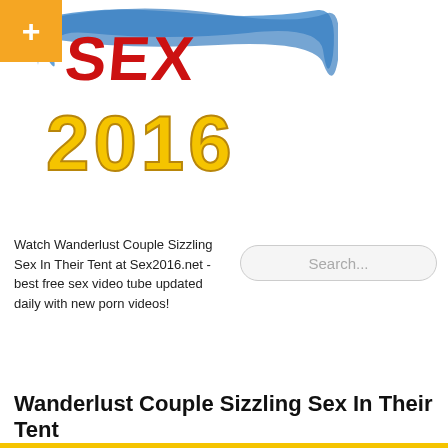[Figure (logo): Sex2016 website logo with red SEX text, yellow 2016 numbers, blue brushstroke background, and orange plus button]
Watch Wanderlust Couple Sizzling Sex In Their Tent at Sex2016.net - best free sex video tube updated daily with new porn videos!
Search...
Wanderlust Couple Sizzling Sex In Their Tent